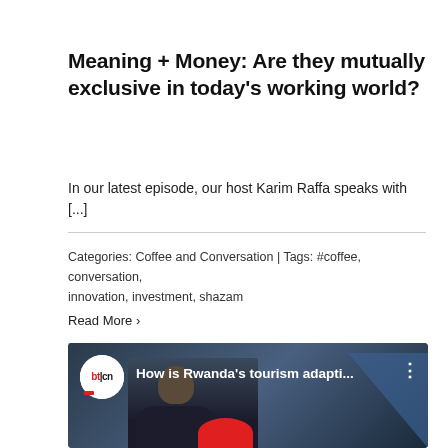Meaning + Money: Are they mutually exclusive in today's working world?
In our latest episode, our host Karim Raffa speaks with [...]
Categories: Coffee and Conversation | Tags: #coffee, conversation, innovation, investment, shazam
Read More ›
[Figure (screenshot): Video thumbnail showing a man in a suit with 'bt|cn' channel logo and title 'How is Rwanda's tourism adapti...' with a three-dot menu icon]